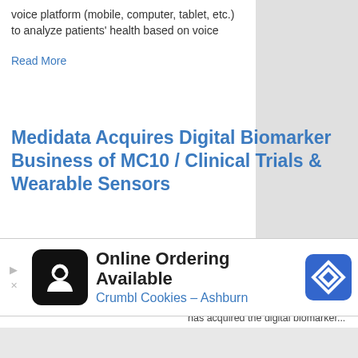voice platform (mobile, computer, tablet, etc.) to analyze patients' health based on voice
Read More
Medidata Acquires Digital Biomarker Business of MC10 / Clinical Trials & Wearable Sensors
by Fred Pennic 10/27/2020   Leave a Comment
What You Should Know: - Clinical trials technology company Medidata has acquired the digital biomarker...
[Figure (infographic): Advertisement banner for Online Ordering Available - Crumbl Cookies Ashburn with food delivery icon and navigation logo]